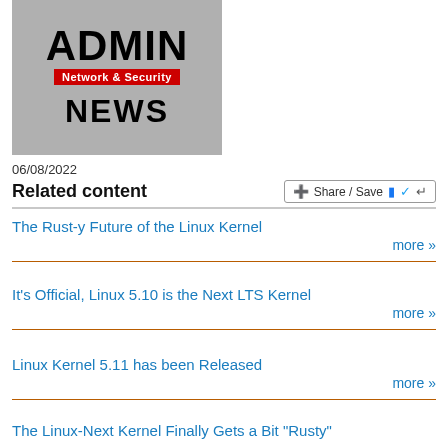[Figure (logo): ADMIN Network & Security NEWS logo on grey background]
06/08/2022
Related content
The Rust-y Future of the Linux Kernel  more »
It's Official, Linux 5.10 is the Next LTS Kernel  more »
Linux Kernel 5.11 has been Released  more »
The Linux-Next Kernel Finally Gets a Bit "Rusty"